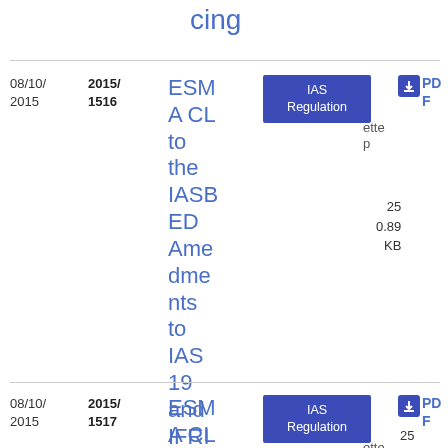cing
| Date | Number | Title | Type | Gazette | Download | Size |
| --- | --- | --- | --- | --- | --- | --- |
| 08/10/2015 | 2015/1516 | ESMA CL to the IASB ED Amendments to IAS 19 and IFRIC 14 | IAS Regulation | Gazette | PDF | 25 0.89 KB |
| 08/10/2015 | 2015/1517 | ESMA CL to | IAS Regulation | Gazette | PDF | 25 |